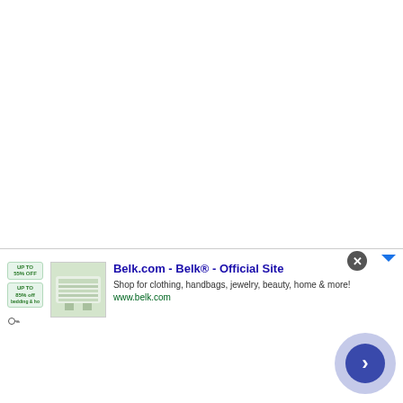That said, Demigod could have been more. DOTA is a mod of Warcraft 3, and as result Demigod, which sticks very closely to the formula DOTA set down, feels kind of like a
[Figure (screenshot): Advertisement banner for Belk.com - Belk® Official Site. Shows promotional badges for up to 55% off and up to 85% off bedding, a product image of bedding/home items, ad title 'Belk.com - Belk® - Official Site', description 'Shop for clothing, handbags, jewelry, beauty, home & more!', URL 'www.belk.com', and a blue circular play/arrow button. Close button (X) in gray circle top right.]